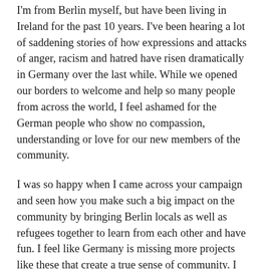I'm from Berlin myself, but have been living in Ireland for the past 10 years. I've been hearing a lot of saddening stories of how expressions and attacks of anger, racism and hatred have risen dramatically in Germany over the last while. While we opened our borders to welcome and help so many people from across the world, I feel ashamed for the German people who show no compassion, understanding or love for our new members of the community.
I was so happy when I came across your campaign and seen how you make such a big impact on the community by bringing Berlin locals as well as refugees together to learn from each other and have fun. I feel like Germany is missing more projects like these that create a true sense of community. I love how you don't just teach people German and how to cook German food. But you also teach Persian and how to cook foods from all over the world – it's an exchange.
That's what life is all about – an exchange of love, support